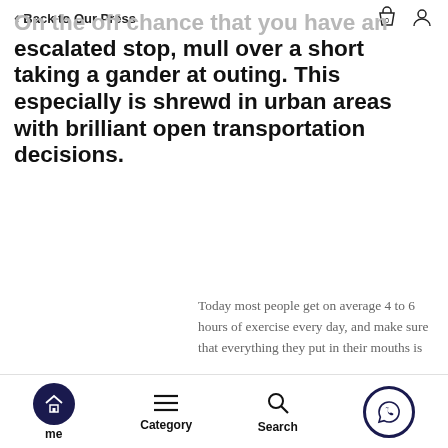Back to Our Press
On the off chance that you have an escalated stop, mull over a short taking a gander at outing. This especially is shrewd in urban areas with brilliant open transportation decisions.
Today most people get on average 4 to 6 hours of exercise every day, and make sure that everything they put in their mouths is
Home  Category  Search